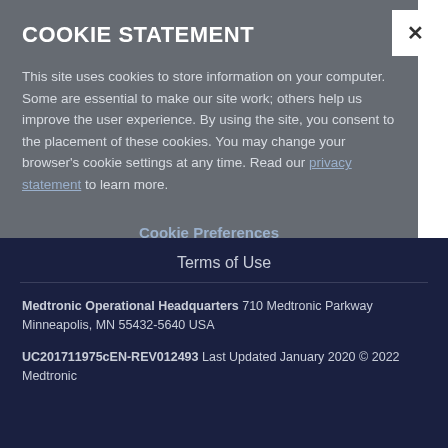COOKIE STATEMENT
This site uses cookies to store information on your computer. Some are essential to make our site work; others help us improve the user experience. By using the site, you consent to the placement of these cookies. You may change your browser's cookie settings at any time. Read our privacy statement to learn more.
Cookie Preferences
Terms of Use
Medtronic Operational Headquarters 710 Medtronic Parkway Minneapolis, MN 55432-5640 USA
UC201711975cEN-REV012493 Last Updated January 2020 © 2022 Medtronic